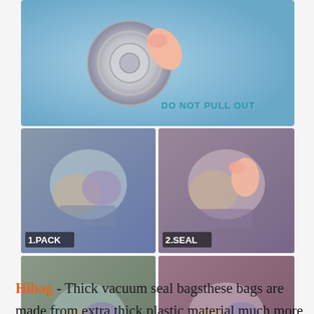[Figure (photo): Top image showing a vacuum bag valve with text 'DO NOT PULL OUT' in teal/blue color. A finger pressing on the circular valve mechanism is visible.]
[Figure (photo): 2x2 grid of product instruction photos showing steps: 1.PACK, 2.SEAL, 3.VACUUM, 4.STORE — each showing clothes/items being packed into vacuum storage bags.]
Hibag - Thick vacuum seal bagsthese bags are made from extra thick plastic material much more thicker than other brands Reusable and endurable Vacuum bags for storage movingcompress more than 80 of their original volume these bags allow you store much more stuff in limited space which is a huge money saver especially during shippingrented storage space Largest